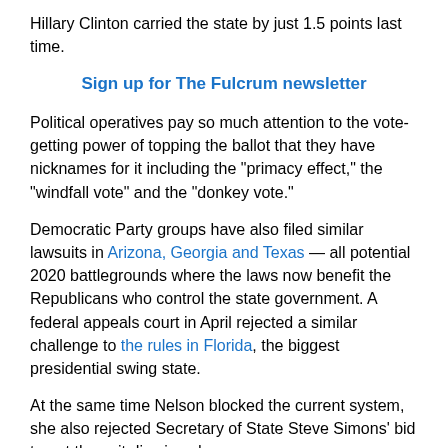Hillary Clinton carried the state by just 1.5 points last time.
Sign up for The Fulcrum newsletter
Political operatives pay so much attention to the vote-getting power of topping the ballot that they have nicknames for it including the "primacy effect," the "windfall vote" and the "donkey vote."
Democratic Party groups have also filed similar lawsuits in Arizona, Georgia and Texas — all potential 2020 battlegrounds where the laws now benefit the Republicans who control the state government. A federal appeals court in April rejected a similar challenge to the rules in Florida, the biggest presidential swing state.
At the same time Nelson blocked the current system, she also rejected Secretary of State Steve Simons' bid to get the suit dismissed.
Stanford political scientist Jonathan Rodden conducted the